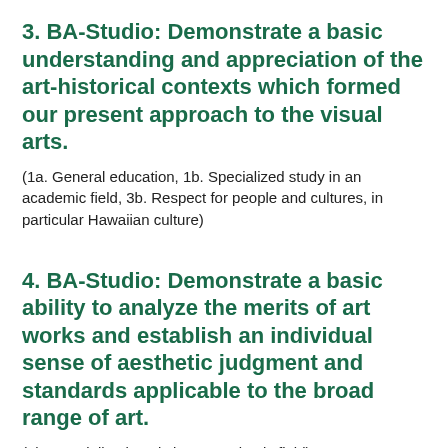3. BA-Studio: Demonstrate a basic understanding and appreciation of the art-historical contexts which formed our present approach to the visual arts.
(1a. General education, 1b. Specialized study in an academic field, 3b. Respect for people and cultures, in particular Hawaiian culture)
4. BA-Studio: Demonstrate a basic ability to analyze the merits of art works and establish an individual sense of aesthetic judgment and standards applicable to the broad range of art.
(1b. Specialized study in an academic field)